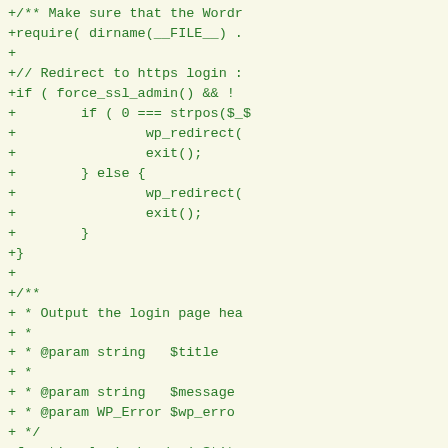[Figure (screenshot): A code diff screenshot showing PHP code additions (lines prefixed with '+') in green monospace font on a light yellow/cream background. The code includes WordPress login page functionality: force_ssl_admin redirect logic, login_header function with parameters for title, message, and WP_Error, and actions for login header and mobile detection.]